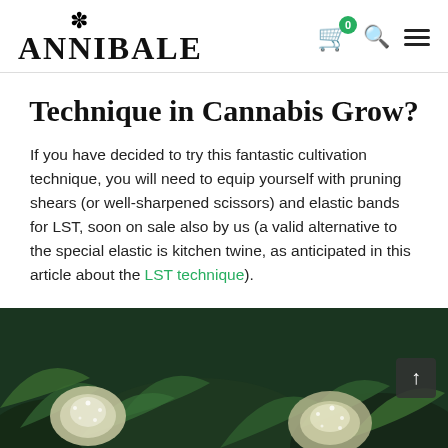ANNIBALE — website header with logo, cart (0), search, and menu icons
Technique in Cannabis Grow?
If you have decided to try this fantastic cultivation technique, you will need to equip yourself with pruning shears (or well-sharpened scissors) and elastic bands for LST, soon on sale also by us (a valid alternative to the special elastic is kitchen twine, as anticipated in this article about the LST technique).
[Figure (photo): Close-up photograph of cannabis plants with white trichome-covered buds and dark green leaves]